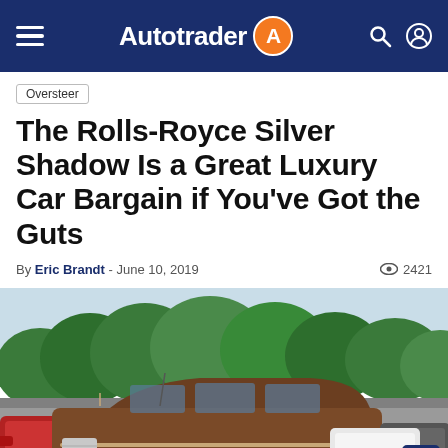Autotrader
Oversteer
The Rolls-Royce Silver Shadow Is a Great Luxury Car Bargain if You've Got the Guts
By Eric Brandt - June 10, 2019  2421
[Figure (photo): A brown/copper Rolls-Royce Silver Shadow parked in a lot surrounded by other cars, with green trees in the background under a light blue sky.]